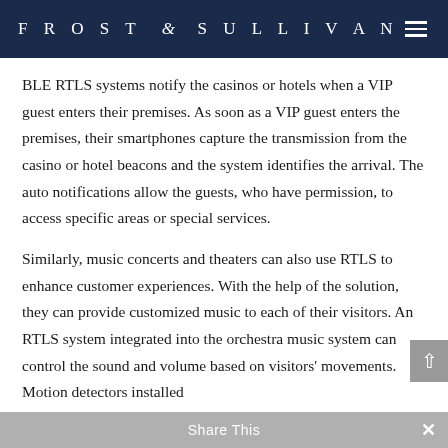FROST & SULLIVAN
BLE RTLS systems notify the casinos or hotels when a VIP guest enters their premises. As soon as a VIP guest enters the premises, their smartphones capture the transmission from the casino or hotel beacons and the system identifies the arrival. The auto notifications allow the guests, who have permission, to access specific areas or special services.
Similarly, music concerts and theaters can also use RTLS to enhance customer experiences. With the help of the solution, they can provide customized music to each of their visitors. An RTLS system integrated into the orchestra music system can control the sound and volume based on visitors' movements. Motion detectors installed